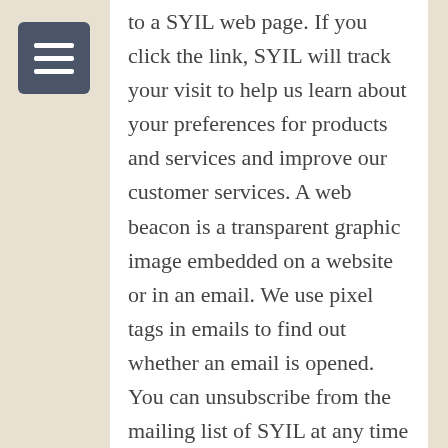to a SYIL web page. If you click the link, SYIL will track your visit to help us learn about your preferences for products and services and improve our customer services. A web beacon is a transparent graphic image embedded on a website or in an email. We use pixel tags in emails to find out whether an email is opened. You can unsubscribe from the mailing list of SYIL at any time if you do not want to be tracked in this manner. By using our website you consent to the use of cookies, web beacons and pixel tags as described above.